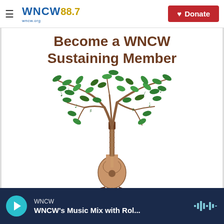≡ WNCW 88.7 wncw.org | Donate
Become a WNCW Sustaining Member
[Figure (illustration): A tree with green leaves and music notes, with a guitar forming the trunk and roots below, representing WNCW's sustaining membership campaign.]
WNCW | WNCW's Music Mix with Rol...